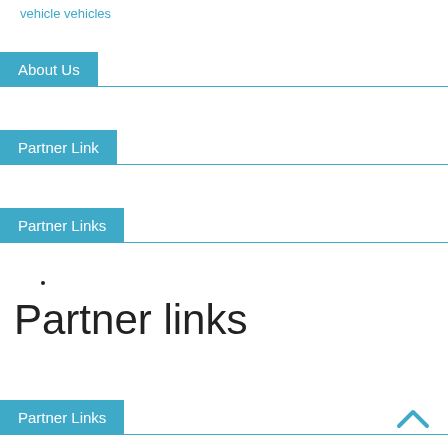vehicle vehicles
About Us
Partner Link
Partner Links
Partner links
Partner Links